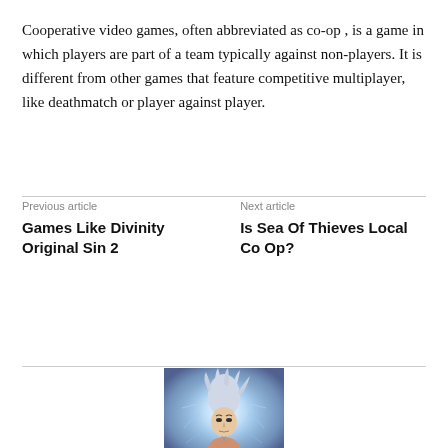Cooperative video games, often abbreviated as co-op , is a game in which players are part of a team typically against non-players. It is different from other games that feature competitive multiplayer, like deathmatch or player against player.
Previous article
Games Like Divinity Original Sin 2
Next article
Is Sea Of Thieves Local Co Op?
[Figure (illustration): Anime-style illustration of a white-haired character with glowing blue/white energy aura, appearing to be in a powerful stance.]
x